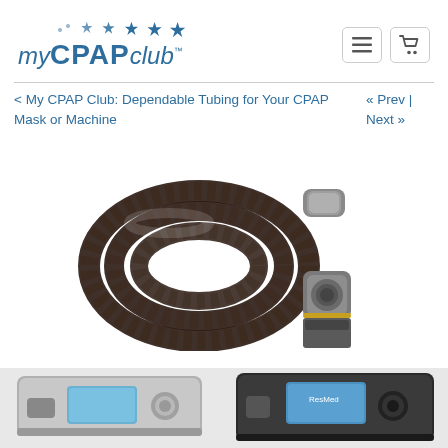my CPAP club
< My CPAP Club: Dependable Tubing for Your CPAP Mask or Machine   « Prev | Next »
[Figure (photo): A coiled dark corrugated CPAP hose/tubing with gray connector ends, shown connected to a CPAP machine port on the right side.]
[Figure (photo): Two CPAP machines shown side by side at the bottom of the page — one silver/gray on the left, one dark/black on the right.]